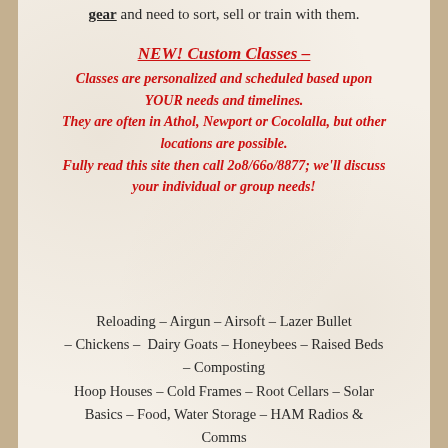gear and need to sort, sell or train with them.
NEW!  Custom Classes –
Classes are personalized and scheduled based upon YOUR needs and timelines.
They are often in Athol, Newport or Cocolalla, but other locations are possible.
Fully read this site then call 2o8/66o/8877; we'll discuss your individual or group needs!
Reloading – Airgun – Airsoft – Lazer Bullet – Chickens –  Dairy Goats – Honeybees – Raised Beds – Composting
Hoop Houses – Cold Frames – Root Cellars – Solar Basics – Food, Water Storage – HAM Radios & Comms
IBC Totes – Back To Eden Gardening – Square Foot Gardening – Earthbox Gardening – Greenhouses
Private, Affordable Mentoring Classes by